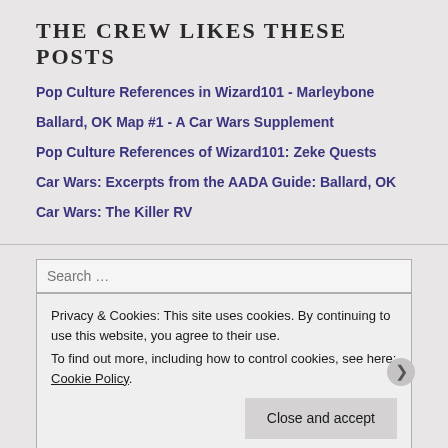The crew likes these posts
Pop Culture References in Wizard101 - Marleybone
Ballard, OK Map #1 - A Car Wars Supplement
Pop Culture References of Wizard101: Zeke Quests
Car Wars: Excerpts from the AADA Guide: Ballard, OK
Car Wars: The Killer RV
Search ...
Privacy & Cookies: This site uses cookies. By continuing to use this website, you agree to their use.
To find out more, including how to control cookies, see here: Cookie Policy
Close and accept